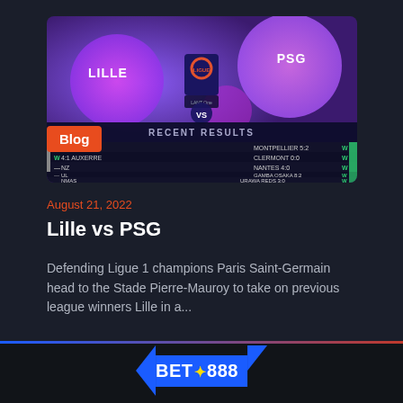[Figure (screenshot): Sports match preview graphic showing LILLE vs PSG with Ligue 1 logo, purple/pink abstract background, and recent results scoreboard below]
Blog
August 21, 2022
Lille vs PSG
Defending Ligue 1 champions Paris Saint-Germain head to the Stade Pierre-Mauroy to take on previous league winners Lille in a...
[Figure (logo): Bet888 logo in blue banner with arrow shapes]